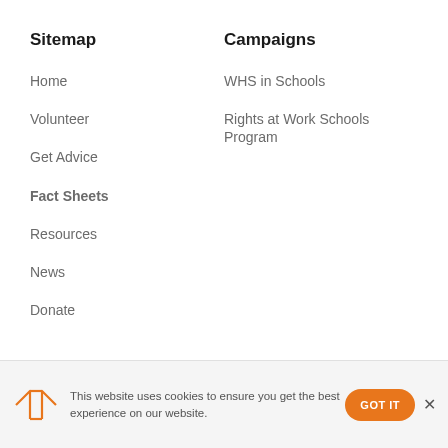Sitemap
Home
Volunteer
Get Advice
Fact Sheets
Resources
News
Donate
Campaigns
WHS in Schools
Rights at Work Schools Program
This website uses cookies to ensure you get the best experience on our website.